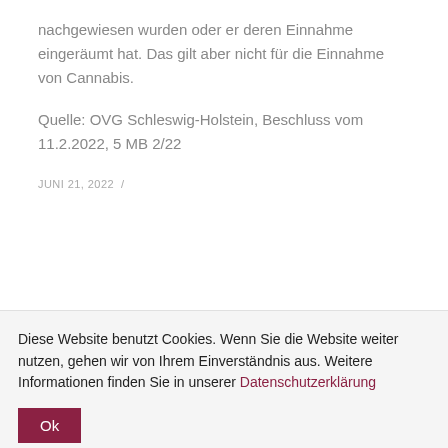nachgewiesen wurden oder er deren Einnahme eingeräumt hat. Das gilt aber nicht für die Einnahme von Cannabis.
Quelle: OVG Schleswig-Holstein, Beschluss vom 11.2.2022, 5 MB 2/22
JUNI 21, 2022 /
Diese Website benutzt Cookies. Wenn Sie die Website weiter nutzen, gehen wir von Ihrem Einverständnis aus. Weitere Informationen finden Sie in unserer Datenschutzerklärung
Ok